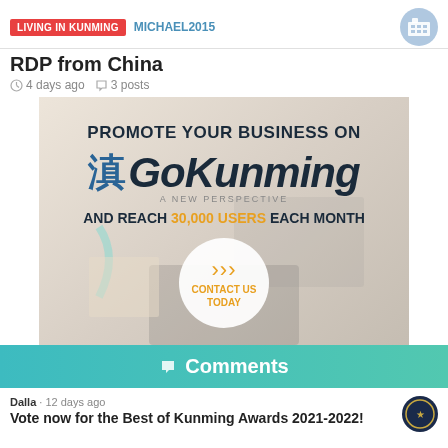LIVING IN KUNMING  MICHAEL2015
RDP from China
4 days ago  3 posts
[Figure (infographic): GoKunming advertisement banner: 'PROMOTE YOUR BUSINESS ON 滇GoKunming A NEW PERSPECTIVE AND REACH 30,000 USERS EACH MONTH' with a CONTACT US TODAY button, set over a desktop workspace photo.]
Comments
Dalla · 12 days ago
Vote now for the Best of Kunming Awards 2021-2022!